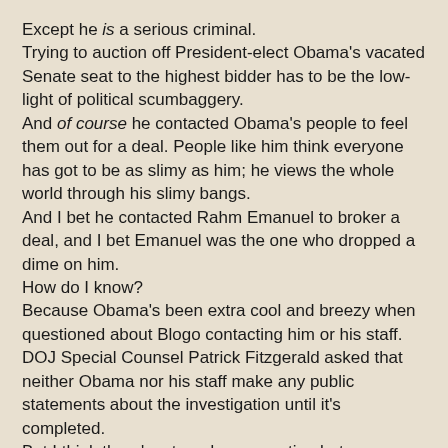Except he is a serious criminal.
Trying to auction off President-elect Obama's vacated Senate seat to the highest bidder has to be the low-light of political scumbaggery.
And of course he contacted Obama's people to feel them out for a deal. People like him think everyone has got to be as slimy as him; he views the whole world through his slimy bangs.
And I bet he contacted Rahm Emanuel to broker a deal, and I bet Emanuel was the one who dropped a dime on him.
How do I know?
Because Obama's been extra cool and breezy when questioned about Blogo contacting him or his staff.
DOJ Special Counsel Patrick Fitzgerald asked that neither Obama nor his staff make any public statements about the investigation until it's completed.
But I think there's a taped conversation between Blogo and Emanuel that Obama's camp can't wait to release, that went something like this:

RB: Hey, Emanuel, I tink ya know why I'm callin ya's, so let's cut to the fuckin' chase, how 'bouddit?